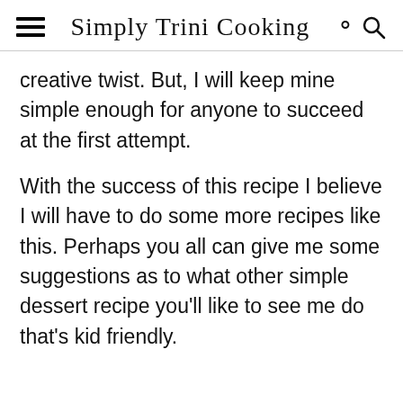Simply Trini Cooking
creative twist. But, I will keep mine simple enough for anyone to succeed at the first attempt.
With the success of this recipe I believe I will have to do some more recipes like this. Perhaps you all can give me some suggestions as to what other simple dessert recipe you'll like to see me do that's kid friendly.